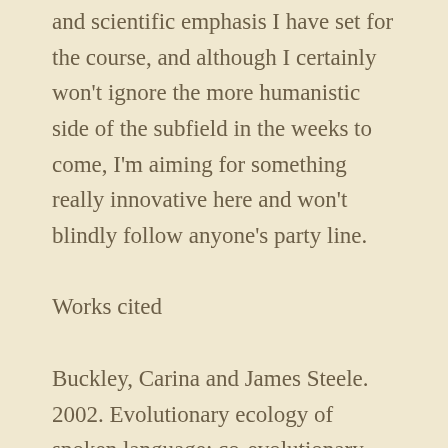and scientific emphasis I have set for the course, and although I certainly won't ignore the more humanistic side of the subfield in the weeks to come, I'm aiming for something really innovative here and won't blindly follow anyone's party line.
Works cited
Buckley, Carina and James Steele. 2002. Evolutionary ecology of spoken language: co-evolutionary hypotheses are testable. World Archaeology 34: 26-46.